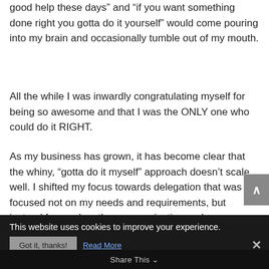good help these days” and “if you want something done right you gotta do it yourself” would come pouring into my brain and occasionally tumble out of my mouth.
All the while I was inwardly congratulating myself for being so awesome and that I was the ONLY one who could do it RIGHT.
As my business has grown, it has become clear that the whiny, “gotta do it myself” approach doesn’t scale well. I shifted my focus towards delegation that was focused not on my needs and requirements, but instead focused on the communication and accountability needs of the
This website uses cookies to improve your experience.
Got it, thanks! Read More
Share This